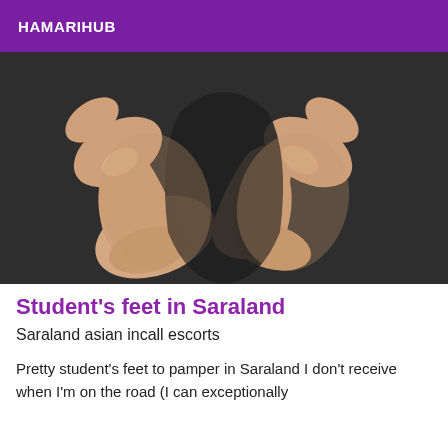HAMARIHUB
[Figure (photo): Close-up photo of two bare feet soles viewed from below, set against a dark textured background.]
Student's feet in Saraland
Saraland asian incall escorts
Pretty student's feet to pamper in Saraland I don't receive when I'm on the road (I can exceptionally